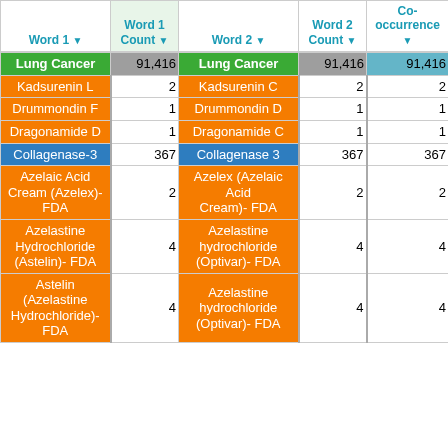| Word 1 | Word 1 Count | Word 2 | Word 2 Count | Co-occurrence |
| --- | --- | --- | --- | --- |
| Lung Cancer | 91,416 | Lung Cancer | 91,416 | 91,416 |
| Kadsurenin L | 2 | Kadsurenin C | 2 | 2 |
| Drummondin F | 1 | Drummondin D | 1 | 1 |
| Dragonamide D | 1 | Dragonamide C | 1 | 1 |
| Collagenase-3 | 367 | Collagenase 3 | 367 | 367 |
| Azelaic Acid Cream (Azelex)- FDA | 2 | Azelex (Azelaic Acid Cream)- FDA | 2 | 2 |
| Azelastine Hydrochloride (Astelin)- FDA | 4 | Azelastine hydrochloride (Optivar)- FDA | 4 | 4 |
| Astelin (Azelastine Hydrochloride)- FDA | 4 | Azelastine hydrochloride (Optivar)- FDA | 4 | 4 |